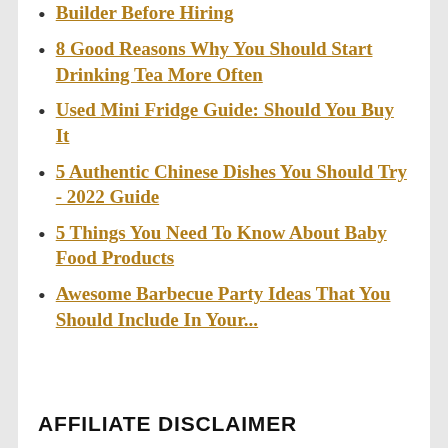Builder Before Hiring
8 Good Reasons Why You Should Start Drinking Tea More Often
Used Mini Fridge Guide: Should You Buy It
5 Authentic Chinese Dishes You Should Try - 2022 Guide
5 Things You Need To Know About Baby Food Products
Awesome Barbecue Party Ideas That You Should Include In Your...
AFFILIATE DISCLAIMER